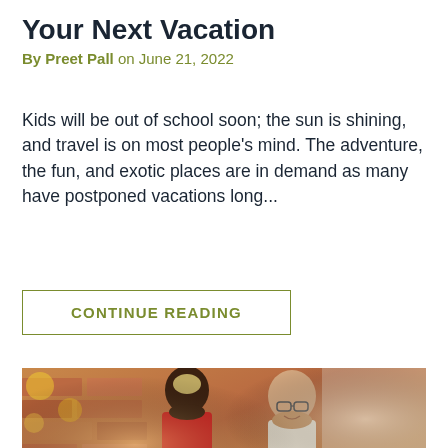Your Next Vacation
By Preet Pall on June 21, 2022
Kids will be out of school soon; the sun is shining, and travel is on most people's mind. The adventure, the fun, and exotic places are in demand as many have postponed vacations long...
CONTINUE READING
[Figure (photo): Two people smiling together in front of a brick wall — one with short blonde hair wearing a red jacket, and one with glasses wearing a light top]